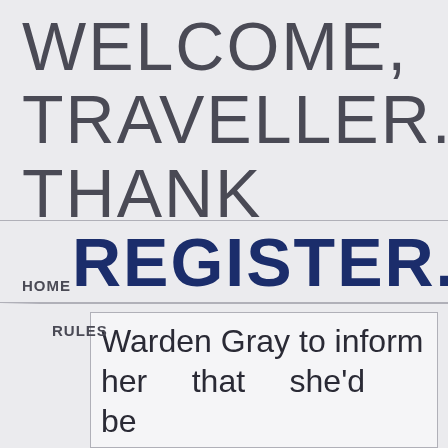WELCOME, TRAVELLER. THANK YOU FOR VISITING! PLEASE LOGIN OR REGISTER.
HOME
RULES
Warden Gray to inform her that she'd be